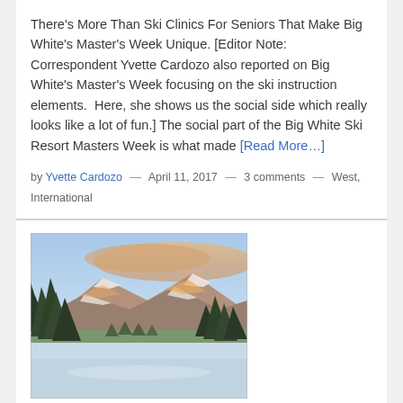There's More Than Ski Clinics For Seniors That Make Big White's Master's Week Unique. [Editor Note: Correspondent Yvette Cardozo also reported on Big White's Master's Week focusing on the ski instruction elements.  Here, she shows us the social side which really looks like a lot of fun.] The social part of the Big White Ski Resort Masters Week is what made [Read More…]
by Yvette Cardozo — April 11, 2017 — 3 comments — West, International
[Figure (photo): Winter mountain scene with snow-covered ground, evergreen trees on the left and right, mountains in the background with warm pink/orange light on snow-capped peaks under a blue sky with some clouds.]